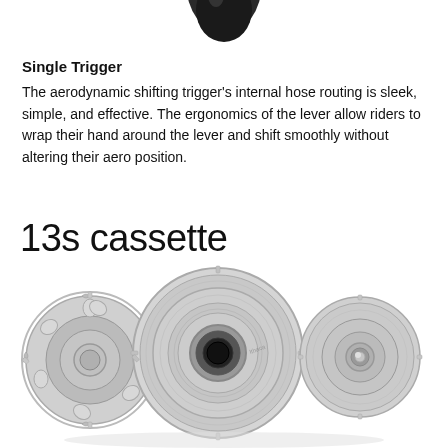[Figure (photo): Partial view of a dark aerodynamic bicycle shifting trigger/lever at the top of the page, cropped, showing only the lower portion against a white background.]
Single Trigger
The aerodynamic shifting trigger's internal hose routing is sleek, simple, and effective. The ergonomics of the lever allow riders to wrap their hand around the lever and shift smoothly without altering their aero position.
13s cassette
[Figure (photo): Three silver/chrome bicycle cassettes (13-speed) displayed side by side against a white background, showing the sprockets and internal structure in detail.]